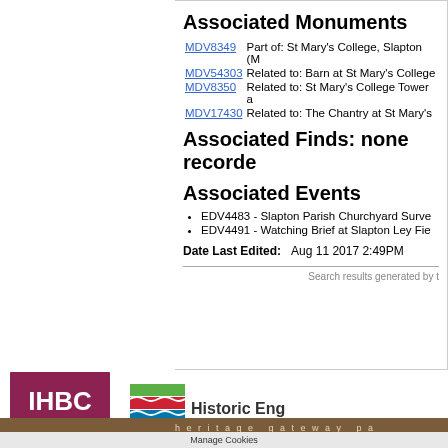Associated Monuments
| MDV8349 | Part of: St Mary's College, Slapton (M |
| MDV54303 | Related to: Barn at St Mary's College |
| MDV8350 | Related to: St Mary's College Tower a |
| MDV17430 | Related to: The Chantry at St Mary's |
Associated Finds: none recorde
Associated Events
EDV4483 - Slapton Parish Churchyard Surve
EDV4491 - Watching Brief at Slapton Ley Fie
Date Last Edited:    Aug 11 2017 2:49PM
Search results generated by t
[Figure (logo): IHBC Institute of Historic Building Conservation logo]
[Figure (logo): Historic England logo with colored wave graphic]
heritage gateway pa
Manage Cookies